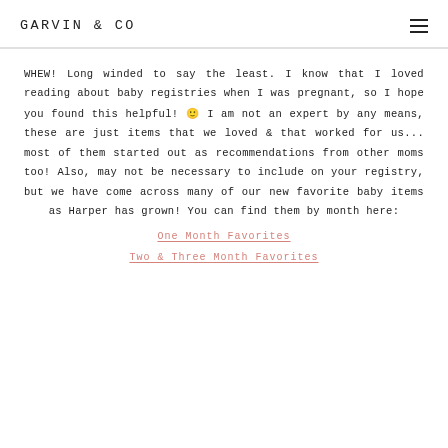GARVIN & CO
WHEW! Long winded to say the least. I know that I loved reading about baby registries when I was pregnant, so I hope you found this helpful! 🙂 I am not an expert by any means, these are just items that we loved & that worked for us... most of them started out as recommendations from other moms too! Also, may not be necessary to include on your registry, but we have come across many of our new favorite baby items as Harper has grown! You can find them by month here:
One Month Favorites
Two & Three Month Favorites